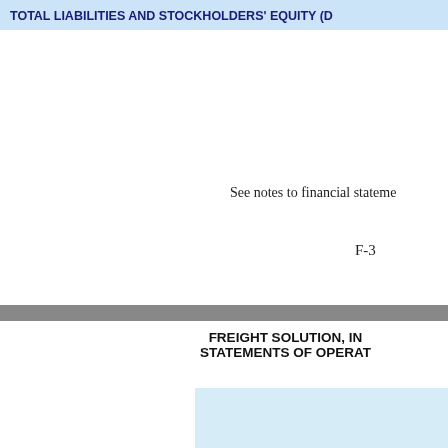TOTAL LIABILITIES AND STOCKHOLDERS' EQUITY (D
See notes to financial stateme
F-3
FREIGHT SOLUTION, IN
STATEMENTS OF OPERAT